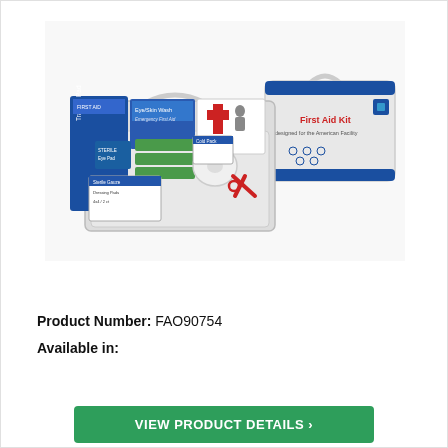[Figure (photo): First Aid Kit product photo showing an open white plastic first aid kit case filled with various medical supplies including bandages, gauze pads, scissors, medical tape, and other first aid items, with the closed kit case visible on the right side displaying 'First Aid Kit' label in red and blue.]
Product Number: FAO90754
Available in:
VIEW PRODUCT DETAILS ›